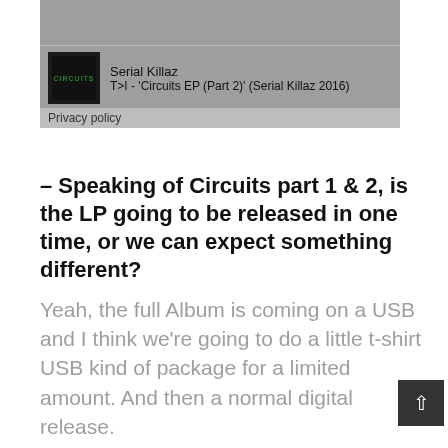[Figure (screenshot): Music player widget showing Serial Killaz album art and track info for T>I - 'Circuits EP (Part 2)' (Serial Killaz 2016), with a grey background and Privacy policy link below]
– Speaking of Circuits part 1 & 2, is the LP going to be released in one time, or we can expect something different?
Yeah, the full Album is coming on a USB and I think we're going to do a little t-shirt USB kind of package for a limited amount. And then a normal digital release.
– Nice. You released a lot of tracks on Natty